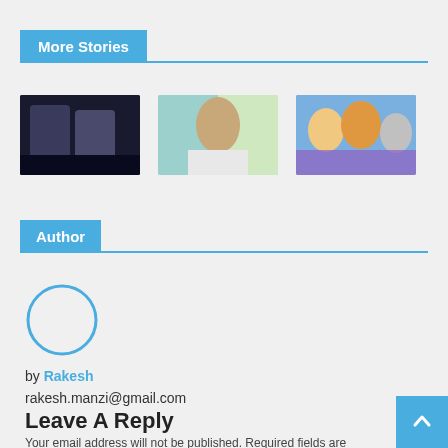More Stories
[Figure (photo): Three story thumbnail images: MMA fighters, Indian politician, Bollywood show cast]
Author
[Figure (photo): Circular author avatar placeholder with blue border]
by Rakesh
rakesh.manzi@gmail.com
Leave A Reply
Your email address will not be published. Required fields are